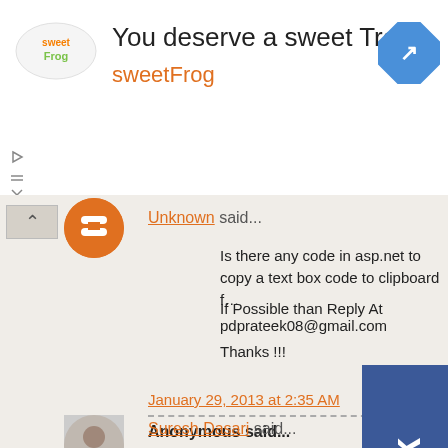[Figure (screenshot): SweetFrog advertisement banner with logo, text 'You deserve a sweet Treat' and 'sweetFrog', and a blue navigation arrow icon]
Unknown said...
Is there any code in asp.net to copy a text box code to clipboard f…
If Possible than Reply At pdprateek08@gmail.com
Thanks !!!
January 29, 2013 at 2:35 AM
Anonymous said...
Nice article but sample code is NOT attached. Can you fi…
January 29, 2013 at 8:46 AM
Suresh Dasari said...